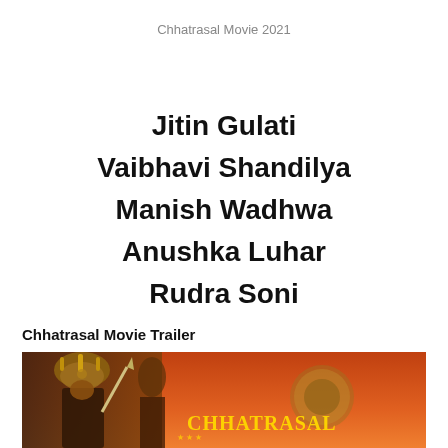Chhatrasal Movie 2021
Jitin Gulati
Vaibhavi Shandilya
Manish Wadhwa
Anushka Luhar
Rudra Soni
Chhatrasal Movie Trailer
[Figure (photo): Movie poster/trailer thumbnail for Chhatrasal showing a warrior in ornate crown holding a weapon against an orange sky background, with the title 'CHHATRASAL' visible]